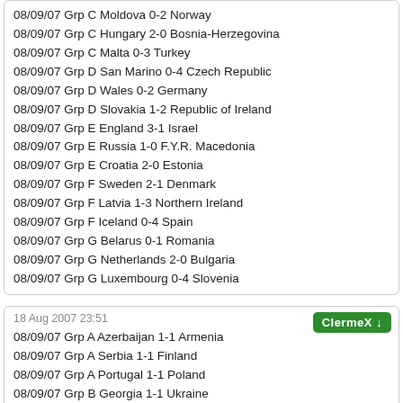08/09/07 Grp C Moldova 0-2 Norway
08/09/07 Grp C Hungary 2-0 Bosnia-Herzegovina
08/09/07 Grp C Malta 0-3 Turkey
08/09/07 Grp D San Marino 0-4 Czech Republic
08/09/07 Grp D Wales 0-2 Germany
08/09/07 Grp D Slovakia 1-2 Republic of Ireland
08/09/07 Grp E England 3-1 Israel
08/09/07 Grp E Russia 1-0 F.Y.R. Macedonia
08/09/07 Grp E Croatia 2-0 Estonia
08/09/07 Grp F Sweden 2-1 Denmark
08/09/07 Grp F Latvia 1-3 Northern Ireland
08/09/07 Grp F Iceland 0-4 Spain
08/09/07 Grp G Belarus 0-1 Romania
08/09/07 Grp G Netherlands 2-0 Bulgaria
08/09/07 Grp G Luxembourg 0-4 Slovenia
18 Aug 2007 23:51
08/09/07 Grp A Azerbaijan 1-1 Armenia
08/09/07 Grp A Serbia 1-1 Finland
08/09/07 Grp A Portugal 1-1 Poland
08/09/07 Grp B Georgia 1-1 Ukraine
08/09/07 Grp B Scotland 2-0 Lithuania
08/09/07 Grp B Italy 2-1 France
08/09/07 Grp C Moldova 1-3 Norway
08/09/07 Grp C Hungary 1-2 Bosnia-Herzegovina
08/09/07 Grp C Malta 0-3 Turkey
08/09/07 Grp D San Marino 0-5 Czech Republic
08/09/07 Grp D Wales 1-3 Germany